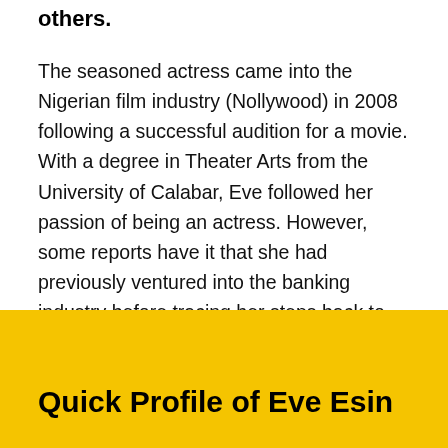others.
The seasoned actress came into the Nigerian film industry (Nollywood) in 2008 following a successful audition for a movie. With a degree in Theater Arts from the University of Calabar, Eve followed her passion of being an actress. However, some reports have it that she had previously ventured into the banking industry before tracing her steps back to the movie industry. That notwithstanding, she has become incredibly successful in her acting career.
Quick Profile of Eve Esin